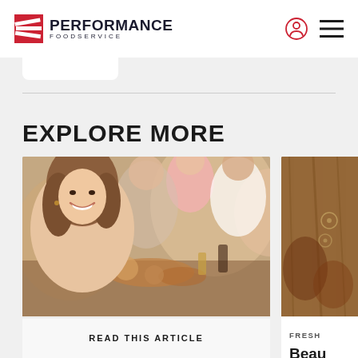Performance Foodservice
EXPLORE MORE
[Figure (photo): Group of smiling people at a restaurant table with food and drinks]
SHARPEN YOUR SKILLS
Celebrate Community During Hispanic Heritage Month
[Figure (photo): Partial view of a second article card with food/ingredient image]
FRESH
Beau
READ THIS ARTICLE